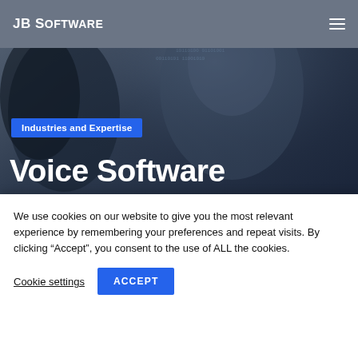JB Software
[Figure (photo): Dark moody background hero image showing a close-up of a face with digital/binary overlay, predominantly dark blue and grey tones.]
Industries and Expertise
Voice Software
The voice layer for your product or service. Provide a new way for your users
We use cookies on our website to give you the most relevant experience by remembering your preferences and repeat visits. By clicking “Accept”, you consent to the use of ALL the cookies.
Cookie settings  ACCEPT